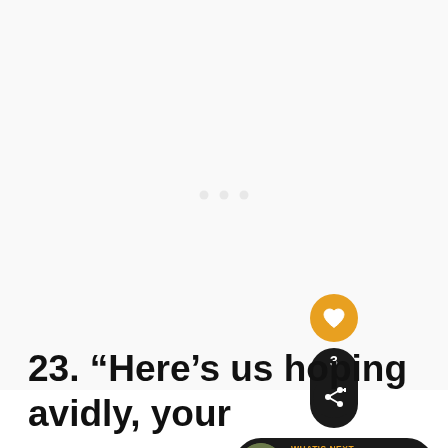[Figure (screenshot): White/blank content area with faint loading dots indicator in the center]
[Figure (infographic): UI overlay: orange heart/like button circle, dark pill with number 3 and share icon, and a 'What's Next' banner showing a person avatar with text 'Famous Poems to...']
23. “Here’s us hoping avidly, your